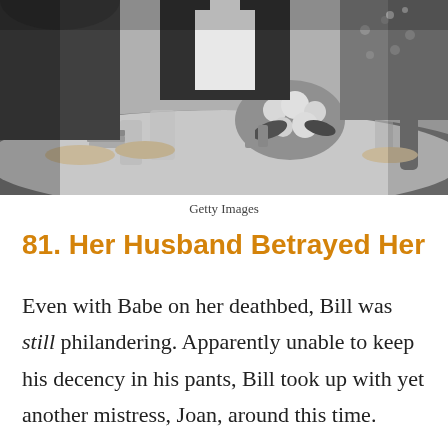[Figure (photo): Black and white vintage photograph of people seated around a dining table with flowers, glassware, and bottles. Multiple people visible from the waist down and hands visible.]
Getty Images
81. Her Husband Betrayed Her
Even with Babe on her deathbed, Bill was still philandering. Apparently unable to keep his decency in his pants, Bill took up with yet another mistress, Joan, around this time.